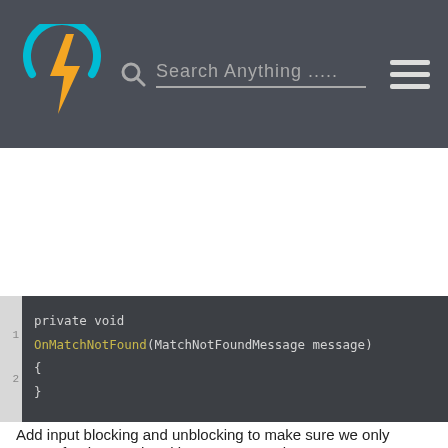[Figure (screenshot): Website header with lightning bolt logo, search bar saying 'Search Anything .....', and hamburger menu icon on dark grey background]
private void OnMatchNotFound(MatchNotFoundMessage message)
    {
    }

    private void OnChallengeStarted(ChallengeStartedMessage message)
    {

LoadingManager.Instance.LoadNextScene();
    }

    // ...

}
Add input blocking and unblocking to make sure we only queue for the matchmaking once. Complete